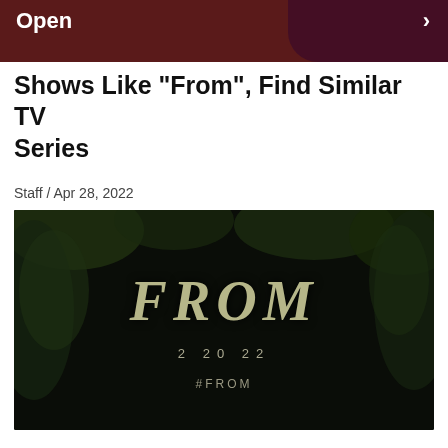Open
Shows Like “From”, Find Similar TV Series
Staff / Apr 28, 2022
[Figure (photo): Promotional image for the TV series 'FROM' showing the title in stylized text against a dark forest background with the date '2 20 22' and '#FROM' hashtag below.]